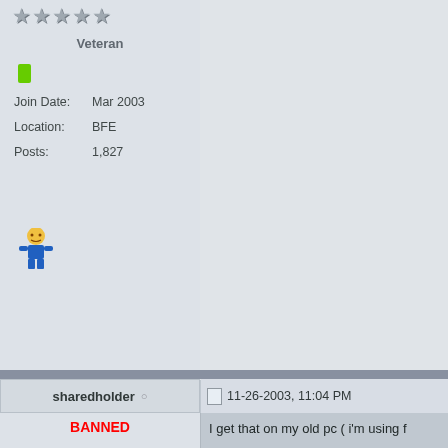Veteran
Join Date: Mar 2003
Location: BFE
Posts: 1,827
sharedholder  ○  11-26-2003, 11:04 PM
BANNED
Join Date: Apr 2003
Posts: 4,618
I get that on my old pc ( i&#39;m using f
iMartin  ○  11-26-2003, 11:51 PM
Originally posted by sharedholder 2003 - 17:04
win ME.